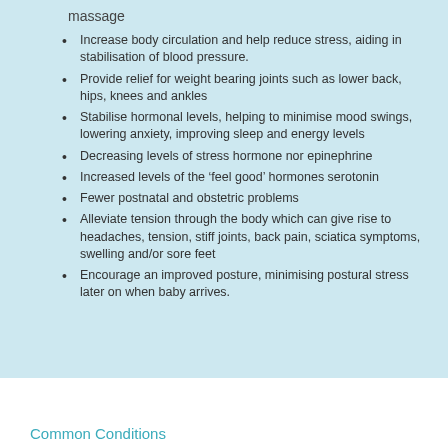massage
Increase body circulation and help reduce stress, aiding in stabilisation of blood pressure.
Provide relief for weight bearing joints such as lower back, hips, knees and ankles
Stabilise hormonal levels, helping to minimise mood swings, lowering anxiety, improving sleep and energy levels
Decreasing levels of stress hormone nor epinephrine
Increased levels of the ‘feel good’ hormones serotonin
Fewer postnatal and obstetric problems
Alleviate tension through the body which can give rise to headaches, tension, stiff joints, back pain, sciatica symptoms, swelling and/or sore feet
Encourage an improved posture, minimising postural stress later on when baby arrives.
Common Conditions